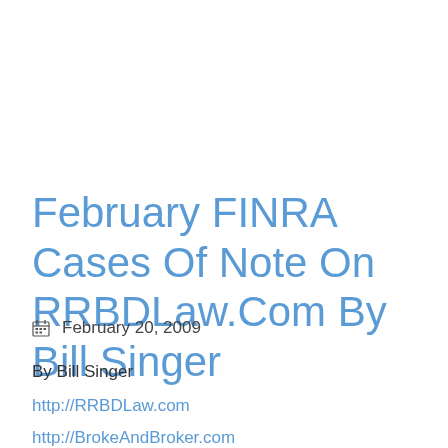February FINRA Cases Of Note On RRBDLaw.Com By Bill Singer
📅 February 20, 2009
By Bill Singer
http://RRBDLaw.com
http://BrokeAndBroker.com